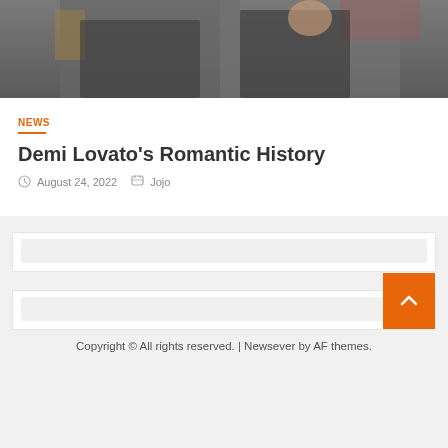[Figure (photo): Photo of two people at an event, cropped showing torsos and partial faces]
NEWS
Demi Lovato's Romantic History
August 24, 2022   Jojo
Copyright © All rights reserved. | Newsever by AF themes.